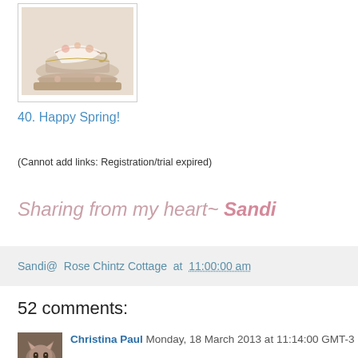[Figure (photo): Thumbnail photo of stacked teacups and saucers with floral patterns, inside a bordered frame]
40. Happy Spring!
(Cannot add links: Registration/trial expired)
Sharing from my heart~ Sandi
Sandi@ Rose Chintz Cottage at 11:00:00 am
52 comments:
[Figure (photo): Small avatar photo of a cat]
Christina Paul Monday, 18 March 2013 at 11:14:00 GMT-3
this is just lovely- adorable bunnies and beautiful tableware!- I really love the the stack of tea cups under the glass cloche- what a nice touch!